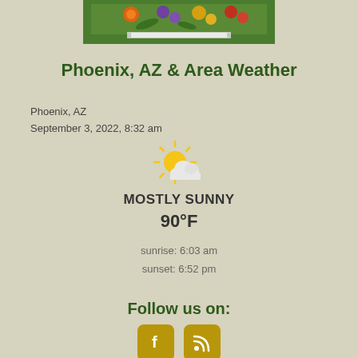[Figure (photo): Banner image with colorful flowers on green background]
Phoenix, AZ & Area Weather
Phoenix, AZ
September 3, 2022, 8:32 am
[Figure (illustration): Mostly sunny weather icon — sun partially behind a cloud]
Mostly Sunny
90°F
sunrise: 6:03 am
sunset: 6:52 pm
Follow us on:
[Figure (infographic): Social media buttons: Facebook (f) and RSS feed icons in golden-yellow rounded squares]